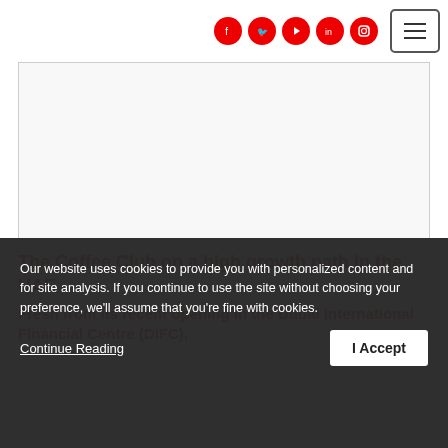[Figure (screenshot): Social media icons (Facebook, Twitter, YouTube, LinkedIn, Instagram) in red circles, and a hamburger menu button]
[Figure (photo): Large white/blank image area representing a photo placeholder for The Coffee Club article]
The Coffee Club on a high growth path in the UAE
Fresh from its recent opening in the Dubai International Financial Centre (DIFC),
Our website uses cookies to provide you with personalized content and for site analysis. If you continue to use the site without choosing your preference, we'll assume that you're fine with cookies.
Continue Reading
I Accept